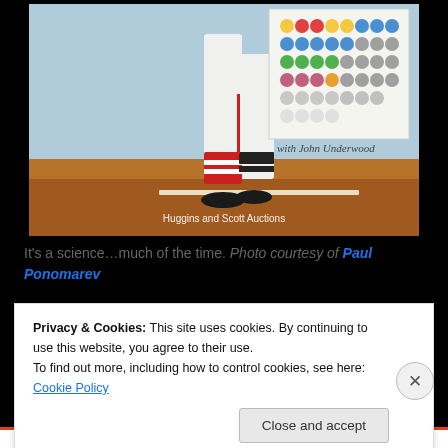[Figure (photo): Baseball player legs/lower body in white uniform with red striped socks on a dirt infield, with a colorful dot chart/legend visible in upper right corner. Watermark reads 'Huggins and Scott Auctions'. Image has black background borders.]
It's a science…much of the time. Photo courtesy of Paul Ponomarev
Privacy & Cookies: This site uses cookies. By continuing to use this website, you agree to their use.
To find out more, including how to control cookies, see here: Cookie Policy
Close and accept